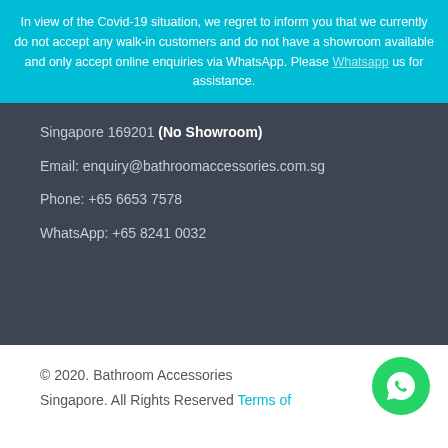In view of the Covid-19 situation, we regret to inform you that we currently do not accept any walk-in customers and do not have a showroom available and only accept online enquiries via WhatsApp. Please Whatsapp us for assistance.
Singapore 169201 (No Showroom)
Email: enquiry@bathroomaccessories.com.sg
Phone: +65 6653 7578
WhatsApp: +65 8241 0032
© 2020. Bathroom Accessories Singapore. All Rights Reserved Terms of